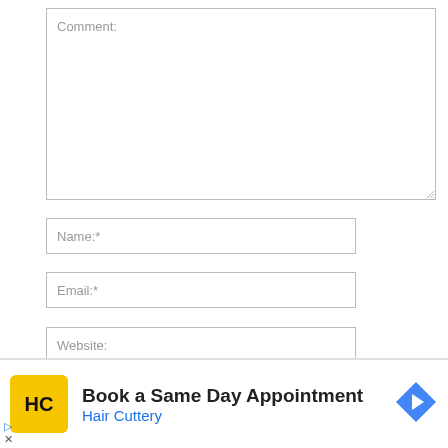[Figure (screenshot): A web comment form with a large Comment textarea, Name, Email, Website input fields, a save checkbox row, and an advertisement banner for Hair Cuttery at the bottom.]
Comment:
Name:*
Email:*
Website:
Save my name, email, and website in this browser for the next comment.
Book a Same Day Appointment
Hair Cuttery